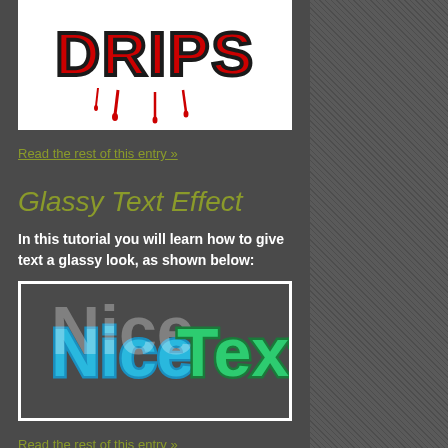[Figure (illustration): Drips graffiti-style red and black text effect image on white background]
Read the rest of this entry »
Glassy Text Effect
In this tutorial you will learn how to give text a glassy look, as shown below:
[Figure (illustration): NiceText glassy text effect - blue and green glossy letter styling on dark background with white border]
Read the rest of this entry »
Graffiti/Custom Text...